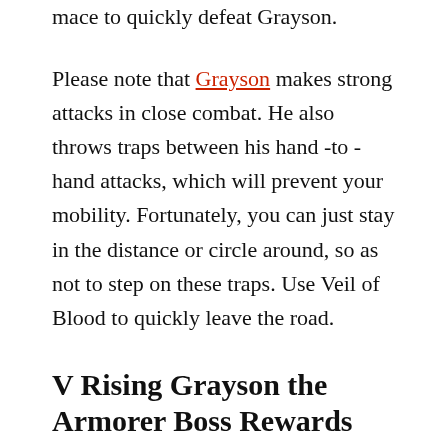mace to quickly defeat Grayson.
Please note that Grayson makes strong attacks in close combat. He also throws traps between his hand -to -hand attacks, which will prevent your mobility. Fortunately, you can just stay in the distance or circle around, so as not to step on these traps. Use Veil of Blood to quickly leave the road.
V Rising Grayson the Armorer Boss Rewards
When you finally be able to defeat Grayson, gunsmith, you will receive the following awards:
Abilities: crimson aegis